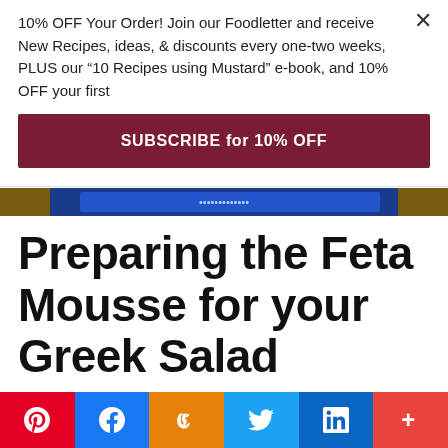10% OFF Your Order! Join our Foodletter and receive New Recipes, ideas, & discounts every one-two weeks, PLUS our ‘10 Recipes using Mustard” e-book, and 10% OFF your first
SUBSCRIBE for 10% OFF
[Figure (photo): Partial image strip showing a decorative blue and gold dish/plate]
Preparing the Feta Mousse for your Greek Salad
Let’s make the feta mousse by first
[Figure (infographic): Social share buttons: Pinterest, Facebook, Yummly, Twitter, LinkedIn, More]